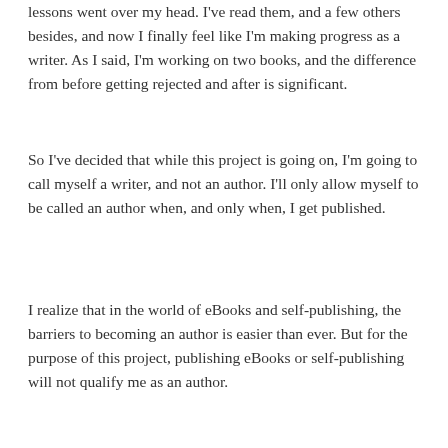lessons went over my head. I've read them, and a few others besides, and now I finally feel like I'm making progress as a writer. As I said, I'm working on two books, and the difference from before getting rejected and after is significant.
So I've decided that while this project is going on, I'm going to call myself a writer, and not an author. I'll only allow myself to be called an author when, and only when, I get published.
I realize that in the world of eBooks and self-publishing, the barriers to becoming an author is easier than ever. But for the purpose of this project, publishing eBooks or self-publishing will not qualify me as an author.